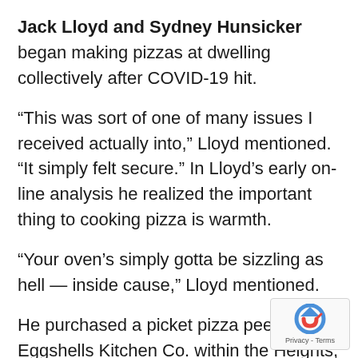Jack Lloyd and Sydney Hunsicker began making pizzas at dwelling collectively after COVID-19 hit.
“This was sort of one of many issues I received actually into,” Lloyd mentioned. “It simply felt secure.” In Lloyd’s early on-line analysis he realized the important thing to cooking pizza is warmth.
“Your oven’s simply gotta be sizzling as hell — inside cause,” Lloyd mentioned.
He purchased a picket pizza peel from Eggshells Kitchen Co. within the Heights, and he builds the pizza on the peel, which he covers with flour and cornmeal. Then he slides the pizza off the peel instantly onto the pizza stone he preheats in his dwelling oven at 450 levels. At first, he simply